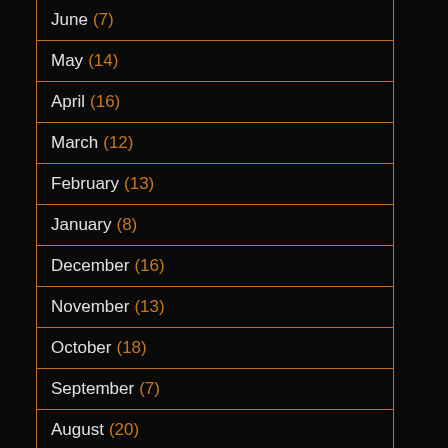June (7)
May (14)
April (16)
March (12)
February (13)
January (8)
December (16)
November (13)
October (18)
September (7)
August (20)
July (16)
June (15)
May (16)